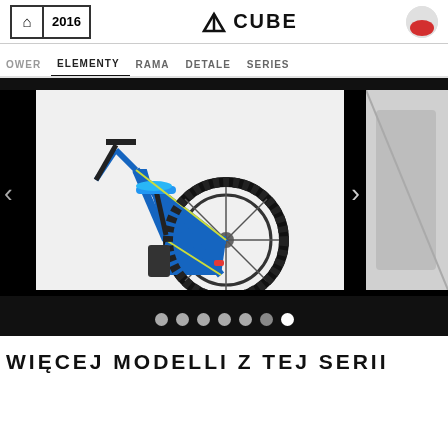Home | 2016 | CUBE | Poland flag
OWER   ELEMENTY   RAMA   DETALE   SERIES
[Figure (photo): Blue mountain bike photo shown in a carousel slider on a dark background with navigation arrows and 7 dot indicators]
WIĘCEJ MODELLI Z TEJ SERII